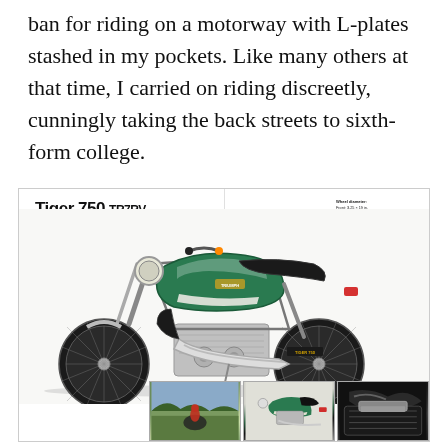ban for riding on a motorway with L-plates stashed in my pockets. Like many others at that time, I carried on riding discreetly, cunningly taking the back streets to sixth-form college.
[Figure (photo): Triumph Tiger 750 (TR7RV) motorcycle brochure page showing a large green and chrome Triumph Tiger 750 motorcycle in profile, with advertising copy text on the left, technical specifications on the upper right, and three small thumbnail photographs along the bottom showing the motorcycle in various settings.]